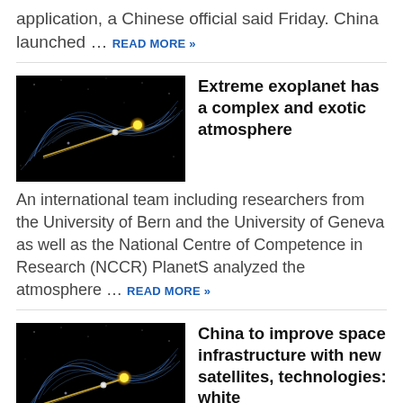application, a Chinese official said Friday. China launched … READ MORE »
Extreme exoplanet has a complex and exotic atmosphere
[Figure (illustration): Dark space illustration showing orbital paths around a star system with a bright yellow star and swirling blue orbital lines]
An international team including researchers from the University of Bern and the University of Geneva as well as the National Centre of Competence in Research (NCCR) PlanetS analyzed the atmosphere … READ MORE »
China to improve space infrastructure with new satellites, technologies: white
[Figure (illustration): Dark space illustration showing orbital paths around a star system with a bright yellow star and swirling blue orbital lines]